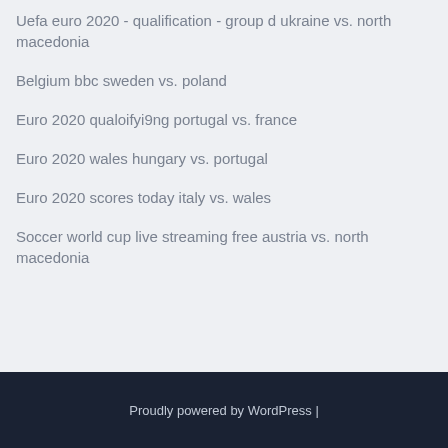Uefa euro 2020 - qualification - group d ukraine vs. north macedonia
Belgium bbc sweden vs. poland
Euro 2020 qualoifyi9ng portugal vs. france
Euro 2020 wales hungary vs. portugal
Euro 2020 scores today italy vs. wales
Soccer world cup live streaming free austria vs. north macedonia
Proudly powered by WordPress |